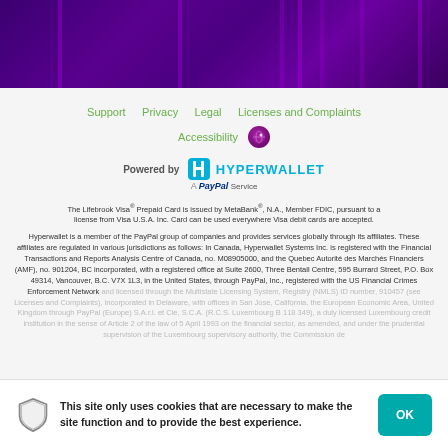[Figure (photo): Purple/dark banner background with vertical light streaks]
Support   Privacy   Legal   Licenses and Complaints   Accessibility
[Figure (logo): Powered by Hyperwallet — A PayPal Service logo]
The Lifebrook Visa® Prepaid Card is issued by MetaBank®, N.A., Member FDIC, pursuant to a license from Visa U.S.A. Inc. Card can be used everywhere Visa debit cards are accepted.
Hyperwallet is a member of the PayPal group of companies and provides services globally through its affiliates. These affiliates are regulated in various jurisdictions as follows: In Canada, Hyperwallet Systems Inc. is registered with the Financial Transactions and Reports Analysis Centre of Canada, no. M08905000, and the Quebec Autorité des Marchés Financiers (AMF), no. 901204, BC incorporated, with a registered office at Suite 2600, Three Bentall Centre, 595 Burrard Street, P.O. Box 49314, Vancouver, B.C. V7X 1L3, in the United States, through PayPal, Inc., registered with the US Financial Crimes Enforcement Network and licensed through the Multistate Licensing System, Registry (NMLS) ID number, 910457 (see Licenses and Complaints), incorporated in Delaware, with offices in San Jose, California, the European Economic Area, United Kingdom through PayPal (Europe) S.A.r.l. et Cie, S.C.A. (R.C.S. Luxembourg B 118 349), a duly licensed Luxembourg credit institution in the sense of Article 2 of the law of 5 April 1993 on the financial sector, as amended, and under the prudential supervision of the Luxembourg supervisory authority, the Commission de
This site only uses cookies that are necessary to make the site function and to provide the best experience.